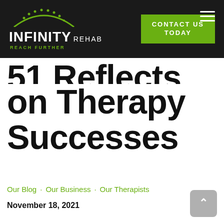[Figure (logo): Infinity Rehab logo with green arc and dots, white text 'INFINITY REHAB', tagline 'REACH FURTHER', on dark background. Green 'CONTACT US TODAY' button on the right. Hamburger menu icon top right.]
on Therapy Successes
Our Blog · Our Business · Our Therapists
November 18, 2021